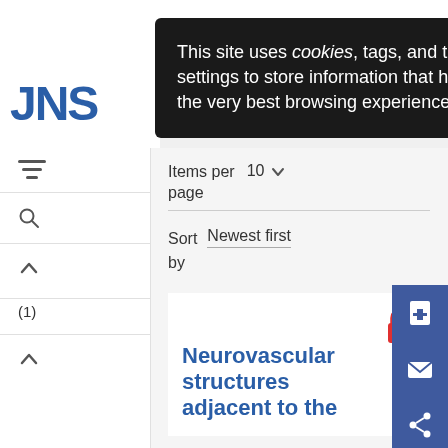[Figure (screenshot): Cookie consent popup overlay on a journal website (JNS). Black rounded rectangle containing white text: 'This site uses cookies, tags, and tracking settings to store information that help give you the very best browsing experience.' with a grey circular close button (X) in the top right.]
JNS
Items per page  10
Sort by  Newest first
(1)
Neurovascular structures adjacent to the